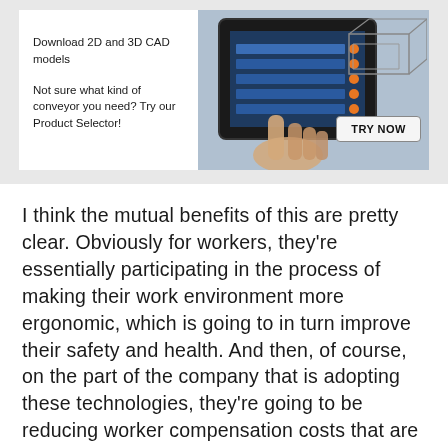[Figure (screenshot): Advertisement banner showing a tablet device with 2D/3D CAD model interface, a hand pointing at the screen, a CAD structure graphic in top-right, and a 'TRY NOW' button. Text reads: 'Download 2D and 3D CAD models' and 'Not sure what kind of conveyor you need? Try our Product Selector!']
I think the mutual benefits of this are pretty clear. Obviously for workers, they're essentially participating in the process of making their work environment more ergonomic, which is going to in turn improve their safety and health. And then, of course, on the part of the company that is adopting these technologies, they're going to be reducing worker compensation costs that are going to be related to these injuries and other